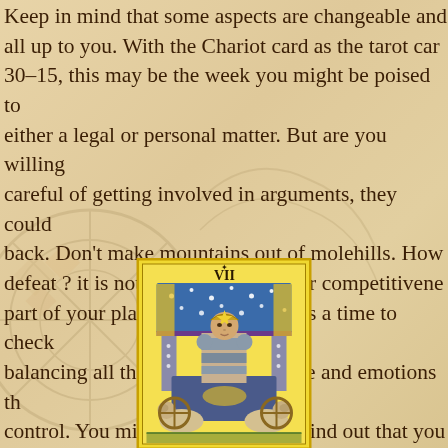Keep in mind that some aspects are changeable and all up to you. With the Chariot card as the tarot car 30–15, this may be the week you might be poised to either a legal or personal matter. But are you willing careful of getting involved in arguments, they could back. Don't make mountains out of molehills. How defeat ? it is not an option. Use your competitivene part of your plan for success. This is a time to check balancing all the aspects of your life and emotions th control. You might be surprised to find out that you pleasurable, short vacation in the near future. At th you decide if the Chariot card appeared in the uprig position for you.
[Figure (illustration): The Chariot tarot card (numbered VII) showing a figure in armor standing in a chariot with a starry canopy, flanked by two sphinxes, with celestial decorations]